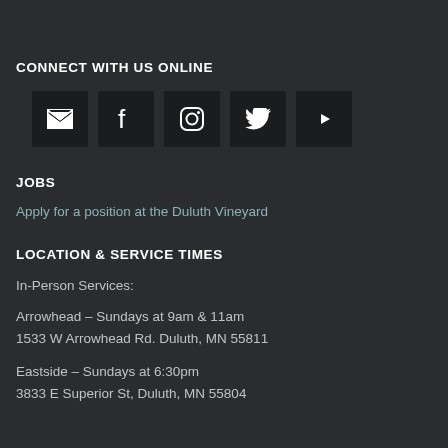CONNECT WITH US ONLINE
[Figure (infographic): Five social media icon buttons in dark boxes: Email (envelope), Facebook (f), Instagram (camera), Twitter (bird), YouTube (play button)]
JOBS
Apply for a position at the Duluth Vineyard
LOCATION & SERVICE TIMES
In-Person Services:
Arrowhead – Sundays at 9am & 11am
1533 W Arrowhead Rd. Duluth, MN 55811
Eastside – Sundays at 6:30pm
3833 E Superior St, Duluth, MN 55804